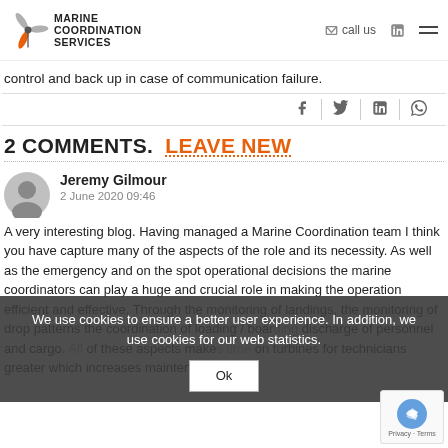Marine Coordination Services — call us [nav icons]
control and back up in case of communication failure.
2 COMMENTS. LEAVE NEW
Jeremy Gilmour
2 June 2020 09:46
A very interesting blog. Having managed a Marine Coordination team I think you have capture many of the aspects of the role and its necessity. As well as the emergency and on the spot operational decisions the marine coordinators can play a huge and crucial role in making the operation efficient and effective. Through the monitoring of landings, the monitoring of drop patterns the coordination of loading / boarding discharge of personnel and cargo. All of these aspects make on turbines for technicians greater which increases maintenance which